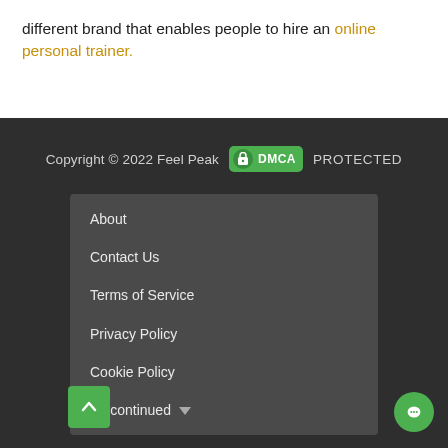different brand that enables people to hire an online personal trainer.
Copyright © 2022 Feel Peak DMCA PROTECTED
About
Contact Us
Terms of Service
Privacy Policy
Cookie Policy
Discontinued ▼